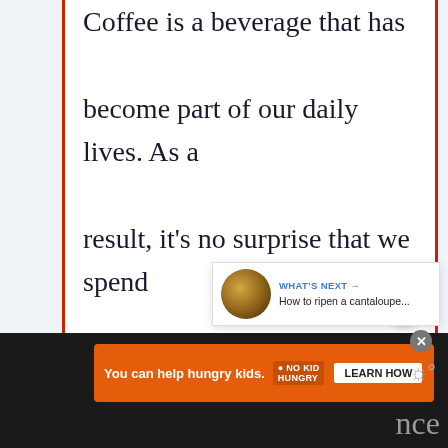Coffee is a beverage that has become part of our daily lives. As a result, it's no surprise that we spend over $100 billion dollars annually on coffee worldwide.Coffee is a drink that has been enjoyed si...
[Figure (screenshot): Share button (circular white button with share icon)]
[Figure (screenshot): What's Next panel showing a cantaloupe image with text 'WHAT'S NEXT -> How to ripen a cantaloupe...']
[Figure (screenshot): Orange advertisement banner: 'You can help hungry kids. NO KID HUNGRY LEARN HOW' with close button]